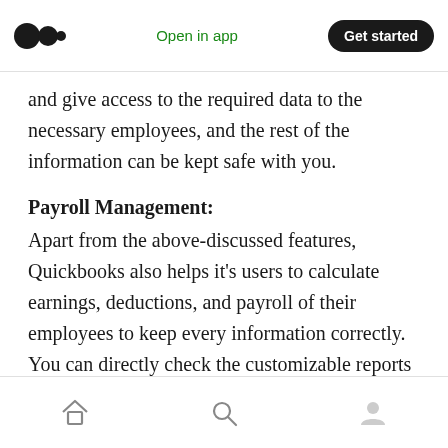Open in app | Get started
and give access to the required data to the necessary employees, and the rest of the information can be kept safe with you.
Payroll Management:
Apart from the above-discussed features, Quickbooks also helps it’s users to calculate earnings, deductions, and payroll of their employees to keep every information correctly. You can directly check the customizable reports for tracking your employee’s time.
Tracks Sales:
Home | Search | Profile